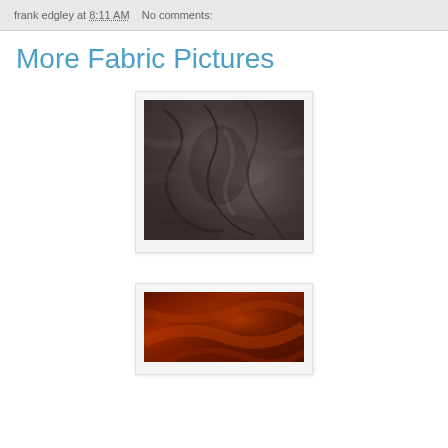frank edgley at 8:11 AM   No comments:
More Fabric Pictures
[Figure (photo): Close-up photograph of wrinkled dark fabric with mottled gray and brown tones, showing texture and folds]
[Figure (photo): Close-up photograph of deep red/dark orange smooth fabric with flowing folds and highlights]